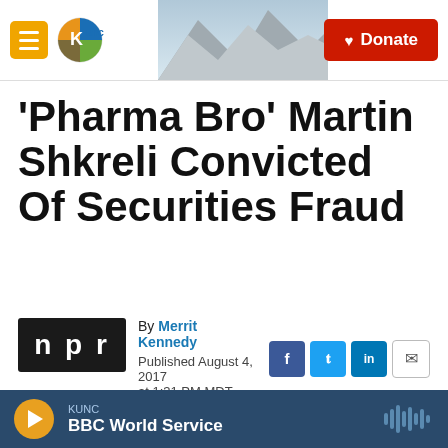KUNC | Donate
'Pharma Bro' Martin Shkreli Convicted Of Securities Fraud
By Merrit Kennedy
Published August 4, 2017 at 1:31 PM MDT
[Figure (photo): Photo of Martin Shkreli outside courthouse]
KUNC
BBC World Service